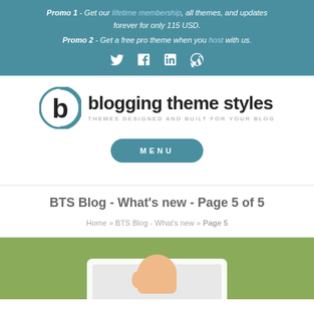Promo 1 - Get our lifetime membership, all themes, and updates forever for only 115 USD.
Promo 2 - Get a free pro theme when you host with us.
[Figure (other): Social media icons: Twitter, Facebook, LinkedIn, WordPress]
[Figure (logo): Blogging Theme Styles logo with circular 'b' icon and tagline THEMES DESIGNED AND BUILT FOR YOUR BLOG]
MENU
BTS Blog - What's new - Page 5 of 5
Home » BTS Blog - What's new » Page 5
[Figure (illustration): Green background with a hand holding a laptop/tablet illustration]